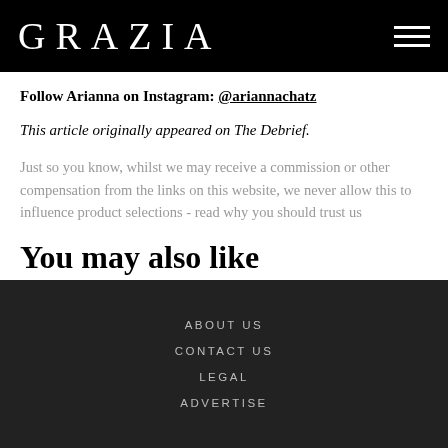GRAZIA
Follow Arianna on Instagram: @ariannachatz
This article originally appeared on The Debrief.
Just so you know, whilst we may receive a commission or other compensation from the links on this website, we never allow this to influence product selections - read why you should trust us
You may also like
ABOUT US
CONTACT US
LEGAL
ADVERTISE